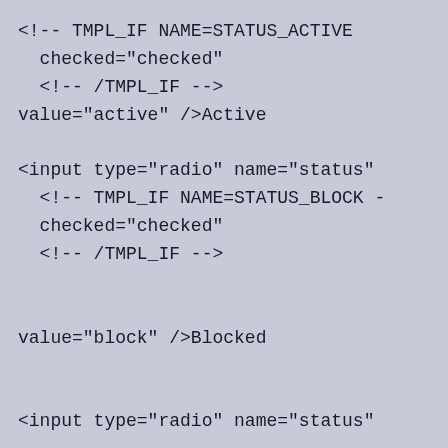<!-- TMPL_IF NAME=STATUS_ACTIVE
  checked="checked"
  <!-- /TMPL_IF -->
value="active" />Active

<input type="radio" name="status"
  <!-- TMPL_IF NAME=STATUS_BLOCK -
  checked="checked"
  <!-- /TMPL_IF -->


value="block" />Blocked


<input type="radio" name="status"